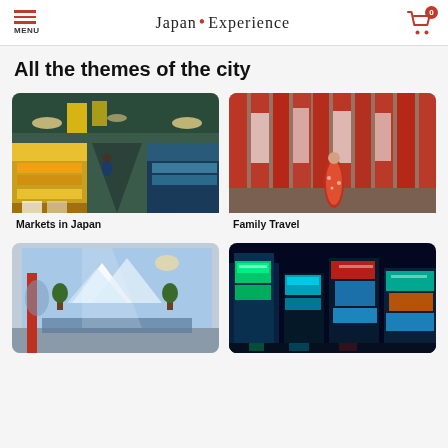Japan Experience
All the themes of the city
[Figure (photo): Indoor Japanese market with colorful stalls and goods on display under bright lights]
Markets in Japan
[Figure (photo): Person in red kimono walking among tall red torii gate pillars with Japanese text]
Family Travel
[Figure (photo): Traditional Japanese bathhouse interior with blue mural of Mount Fuji and trees painted on wall]
[Figure (photo): Night view of neon-lit skyscrapers and buildings covered in colorful Japanese signage]